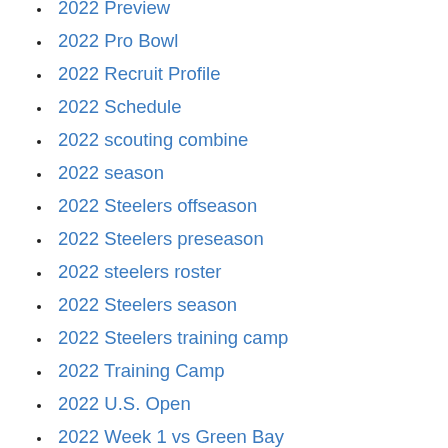2022 Preview
2022 Pro Bowl
2022 Recruit Profile
2022 Schedule
2022 scouting combine
2022 season
2022 Steelers offseason
2022 Steelers preseason
2022 steelers roster
2022 Steelers season
2022 Steelers training camp
2022 Training Camp
2022 U.S. Open
2022 Week 1 vs Green Bay
2022 Winter Olympics
2023 Draft